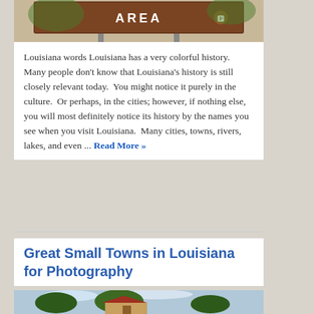[Figure (photo): Brown road sign with text 'AREA' visible at top, mounted on posts with trees in background]
Louisiana words Louisiana has a very colorful history.  Many people don't know that Louisiana's history is still closely relevant today.  You might notice it purely in the culture.  Or perhaps, in the cities; however, if nothing else, you will most definitely notice its history by the names you see when you visit Louisiana.  Many cities, towns, rivers, lakes, and even ... Read More »
Great Small Towns in Louisiana for Photography
[Figure (photo): Photo of a small town scene with trees and a building, cloudy sky]